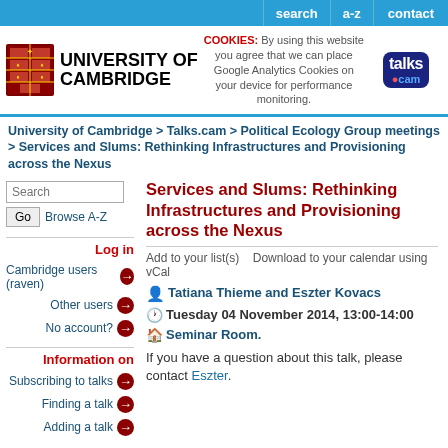search | a-z | contact
[Figure (logo): University of Cambridge crest and name, talks.cam logo, cookie notice]
COOKIES: By using this website you agree that we can place Google Analytics Cookies on your device for performance monitoring.
University of Cambridge > Talks.cam > Political Ecology Group meetings > Services and Slums: Rethinking Infrastructures and Provisioning across the Nexus
Search | Go | Browse A-Z
Log in
Cambridge users (raven)
Other users
No account?
Information on
Subscribing to talks
Finding a talk
Adding a talk
Services and Slums: Rethinking Infrastructures and Provisioning across the Nexus
Add to your list(s)    Download to your calendar using vCal
Tatiana Thieme and Eszter Kovacs
Tuesday 04 November 2014, 13:00-14:00
Seminar Room.
If you have a question about this talk, please contact Eszter.